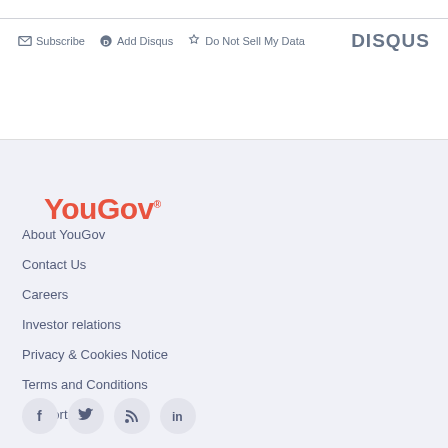Subscribe  Add Disqus  Do Not Sell My Data   DISQUS
[Figure (logo): YouGov logo in red/orange bold text]
About YouGov
Contact Us
Careers
Investor relations
Privacy & Cookies Notice
Terms and Conditions
Support
[Figure (infographic): Social media icons: Facebook, Twitter, RSS feed, LinkedIn in circular grey buttons]